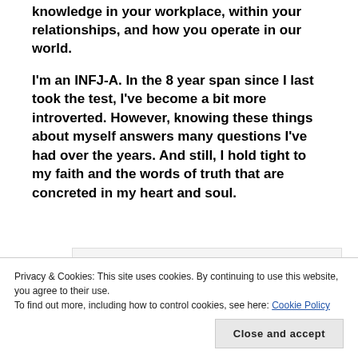knowledge in your workplace, within your relationships, and how you operate in our world.
I'm an INFJ-A. In the 8 year span since I last took the test, I've become a bit more introverted. However, knowing these things about myself answers many questions I've had over the years. And still, I hold tight to my faith and the words of truth that are concreted in my heart and soul.
“Don’t copy the behavior and customs of this world, but let God transform you into a
Privacy & Cookies: This site uses cookies. By continuing to use this website, you agree to their use. To find out more, including how to control cookies, see here: Cookie Policy